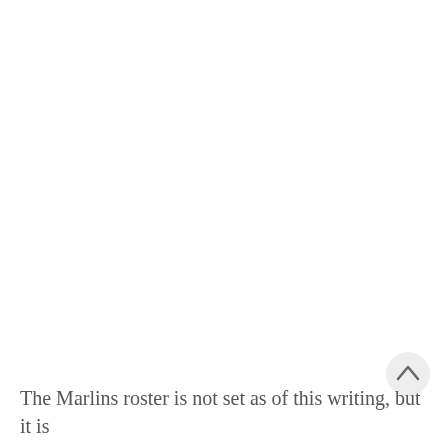[Figure (other): Scroll-to-top button: a circular grey button with an upward-pointing chevron arrow, positioned in the lower-right area of the page]
The Marlins roster is not set as of this writing, but it is